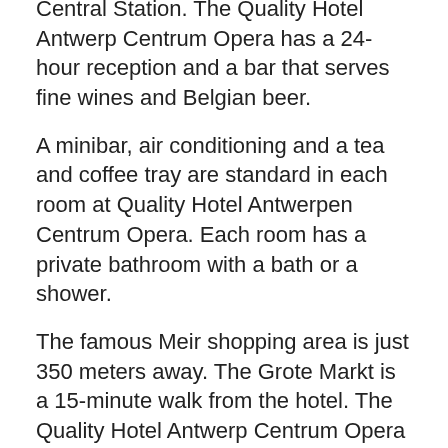Central Station. The Quality Hotel Antwerp Centrum Opera has a 24-hour reception and a bar that serves fine wines and Belgian beer.
A minibar, air conditioning and a tea and coffee tray are standard in each room at Quality Hotel Antwerpen Centrum Opera. Each room has a private bathroom with a bath or a shower.
The famous Meir shopping area is just 350 meters away. The Grote Markt is a 15-minute walk from the hotel. The Quality Hotel Antwerp Centrum Opera is less than 20 minutes' walk from the MAS Museum.
You can park in the secured public car park MyPark Antwerp Shopping, which is located next to the hotel and has direct access to the hotel.
Antwerp Center is a great choice for travelers interested in museums, ambience and shopping.